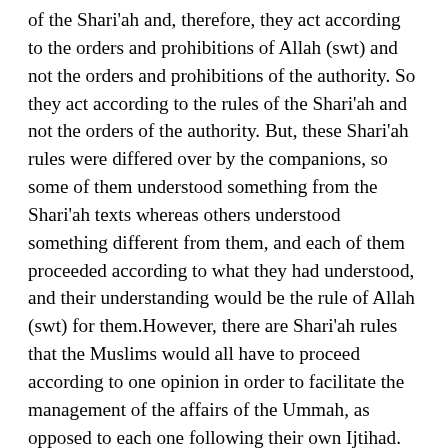of the Shari'ah and, therefore, they act according to the orders and prohibitions of Allah (swt) and not the orders and prohibitions of the authority. So they act according to the rules of the Shari'ah and not the orders of the authority. But, these Shari'ah rules were differed over by the companions, so some of them understood something from the Shari'ah texts whereas others understood something different from them, and each of them proceeded according to what they had understood, and their understanding would be the rule of Allah (swt) for them.However, there are Shari'ah rules that the Muslims would all have to proceed according to one opinion in order to facilitate the management of the affairs of the Ummah, as opposed to each one following their own Ijtihad. This actually happened; Abu Bakr (ra) thought that the wealth should be distributed amongst the Muslims equally, since it was their right collectively. As for Umar (ra), he thought